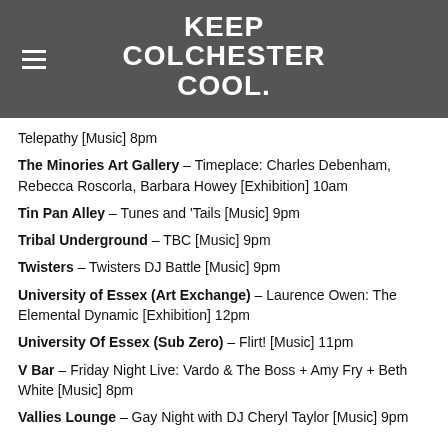KEEP COLCHESTER COOL.
The Bull – No Excuse [Music] 9.45pm
The Soundhouse @ The Bull – Wellaway [Music] 8pm
The Judge and Jury – Band Quest 15: Agonyst + Thames Burial + Ashes Of Empire / Coronach + Telepathy [Music] 8pm
The Minories Art Gallery – Timeplace: Charles Debenham, Rebecca Roscorla, Barbara Howey [Exhibition] 10am
Tin Pan Alley – Tunes and 'Tails [Music] 9pm
Tribal Underground – TBC [Music] 9pm
Twisters – Twisters DJ Battle [Music] 9pm
University of Essex (Art Exchange) – Laurence Owen: The Elemental Dynamic [Exhibition] 12pm
University Of Essex (Sub Zero) – Flirt! [Music] 11pm
V Bar – Friday Night Live: Vardo & The Boss + Amy Fry + Beth White [Music] 8pm
Vallies Lounge – Gay Night with DJ Cheryl Taylor [Music] 9pm